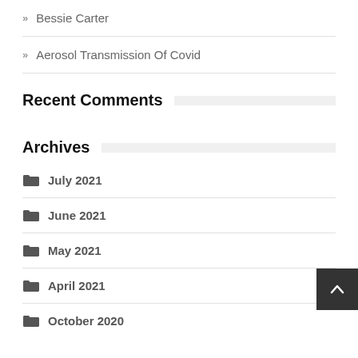» Bessie Carter
» Aerosol Transmission Of Covid
Recent Comments
Archives
July 2021
June 2021
May 2021
April 2021
October 2020